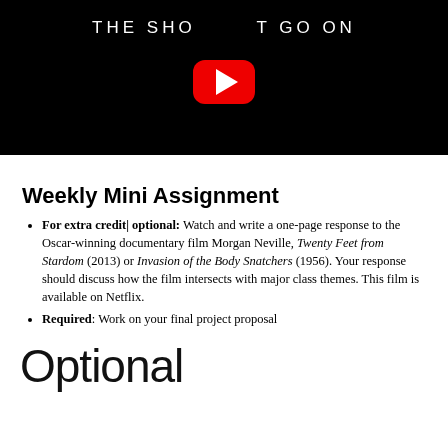[Figure (screenshot): YouTube video thumbnail with black background showing text 'THE SHOW MUST GO ON' and a red YouTube play button in the center]
Weekly Mini Assignment
For extra credit/ optional: Watch and write a one-page response to the Oscar-winning documentary film Morgan Neville, Twenty Feet from Stardom (2013) or Invasion of the Body Snatchers (1956). Your response should discuss how the film intersects with major class themes. This film is available on Netflix.
Required: Work on your final project proposal
Optional